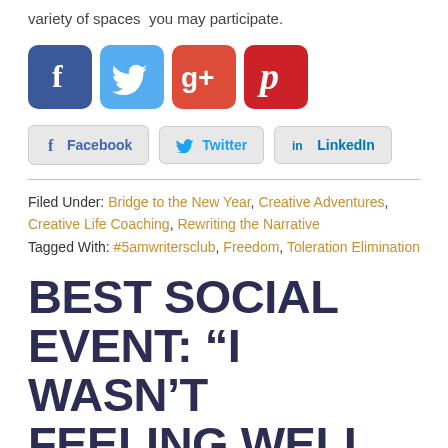variety of spaces  you may participate.
[Figure (illustration): Four social media icon buttons: Facebook (blue), Twitter (light blue), Google+ (red), Pinterest (red)]
[Figure (illustration): Three share buttons: Facebook, Twitter, LinkedIn]
Filed Under: Bridge to the New Year, Creative Adventures, Creative Life Coaching, Rewriting the Narrative
Tagged With: #5amwritersclub, Freedom, Toleration Elimination
BEST SOCIAL EVENT: “I WASN’T FEELING WELL